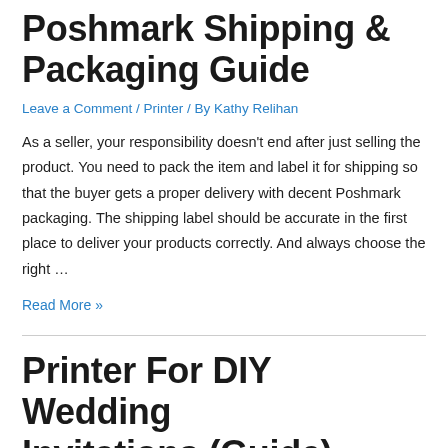Poshmark Shipping & Packaging Guide
Leave a Comment / Printer / By Kathy Relihan
As a seller, your responsibility doesn't end after just selling the product. You need to pack the item and label it for shipping so that the buyer gets a proper delivery with decent Poshmark packaging. The shipping label should be accurate in the first place to deliver your products correctly. And always choose the right …
Read More »
Printer For DIY Wedding Invitations (Guide)
Leave a Comment / Printer / By Kathy Relihan